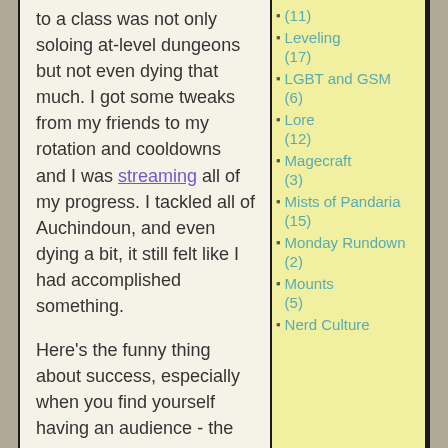to a class was not only soloing at-level dungeons but not even dying that much. I got some tweaks from my friends to my rotation and cooldowns and I was streaming all of my progress. I tackled all of Auchindoun, and even dying a bit, it still felt like I had accomplished something.

Here's the funny thing about success, especially when you find yourself having an audience - the voices that were only you scrolling through them...
(11)
Leveling (17)
LGBT and GSM (6)
Lore (12)
Magecraft (3)
Mists of Pandaria (15)
Monday Rundown (2)
Mounts (5)
Nerd Culture